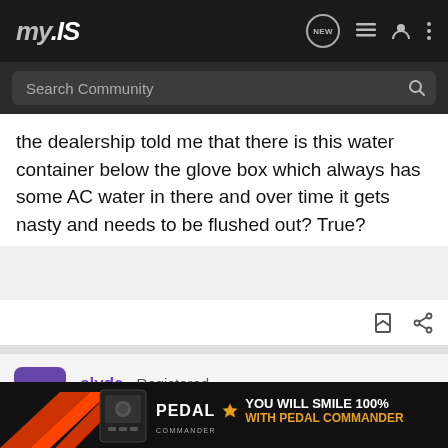my.IS — Search Community
the dealership told me that there is this water container below the glove box which always has some AC water in there and over time it gets nasty and needs to be flushed out? True?
clyde · Registered
Joined Jan 21, 2004 · 818 Posts
#6 · Mar 1, 2004
It's usually mildew on the A/C evap coils. There's a foam that you can squirt into the A/C plenum and it cleans all that out and flushes
[Figure (other): Pedal Commander advertisement banner with orange/black graphic and text: PEDAL COMMANDER — YOU WILL SMILE 100% WITH PEDAL COMMANDER]